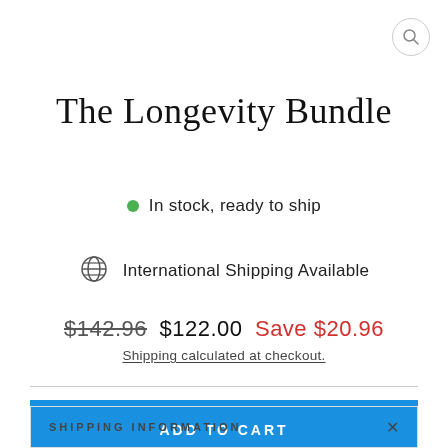[Figure (other): Search icon button (circle with magnifying glass) in top right corner]
The Longevity Bundle
In stock, ready to ship
International Shipping Available
$142.96  $122.00  Save $20.96
Shipping calculated at checkout.
ADD TO CART
SHIPPING INFORMATION